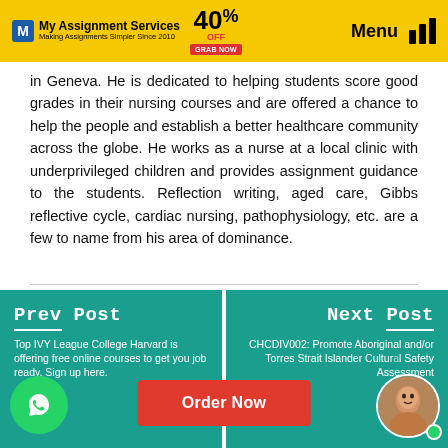My Assignment Services — Making Assignments Simpler Since 2010 — 40% OFF — Menu
in Geneva. He is dedicated to helping students score good grades in their nursing courses and are offered a chance to help the people and establish a better healthcare community across the globe. He works as a nurse at a local clinic with underprivileged children and provides assignment guidance to the students. Reflection writing, aged care, Gibbs reflective cycle, cardiac nursing, pathophysiology, etc. are a few to name from his area of dominance.
Prev Post
Top IVY League College Harvard is offering free online courses to get you job ready. Sign up here.
Next Post
CHCDIV002: Promote Aboriginal and/or Torres Strait Islander Cultural Safety Assessment